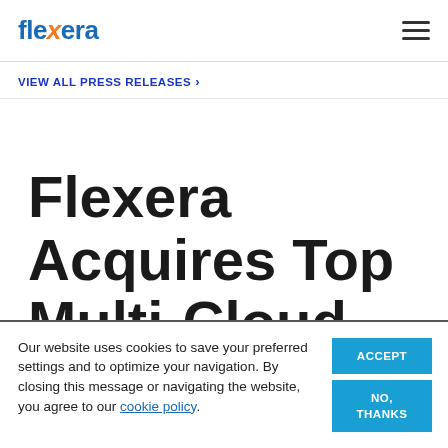Flexera [logo] | hamburger menu
VIEW ALL PRESS RELEASES >
Flexera Acquires Top Multi-Cloud Management
Our website uses cookies to save your preferred settings and to optimize your navigation. By closing this message or navigating the website, you agree to our cookie policy.